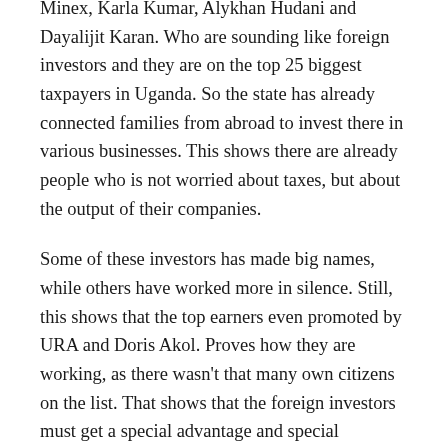Minex, Karla Kumar, Alykhan Hudani and Dayalijit Karan. Who are sounding like foreign investors and they are on the top 25 biggest taxpayers in Uganda. So the state has already connected families from abroad to invest there in various businesses. This shows there are already people who is not worried about taxes, but about the output of their companies.
Some of these investors has made big names, while others have worked more in silence. Still, this shows that the top earners even promoted by URA and Doris Akol. Proves how they are working, as there wasn't that many own citizens on the list. That shows that the foreign investors must get a special advantage and special agreements at the state house for their dealings. Especially, considering how it has been done, just for tearing down markets in Kampala